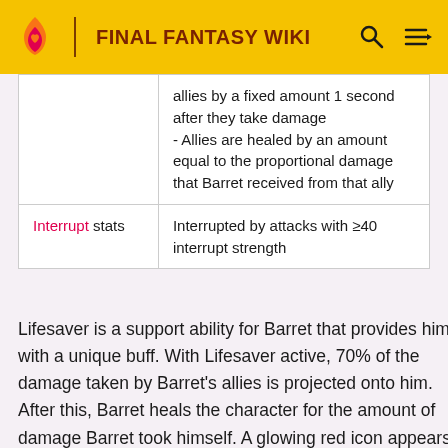FINAL FANTASY WIKI
|  | allies by a fixed amount 1 second after they take damage
- Allies are healed by an amount equal to the proportional damage that Barret received from that ally |
| Interrupt stats | Interrupted by attacks with ≥40 interrupt strength |
Lifesaver is a support ability for Barret that provides him with a unique buff. With Lifesaver active, 70% of the damage taken by Barret's allies is projected onto him. After this, Barret heals the character for the amount of damage Barret took himself. A glowing red icon appears above Barret's health bar to signal that Lifesaver is active. Barret will have an interrupt defense of 40 while